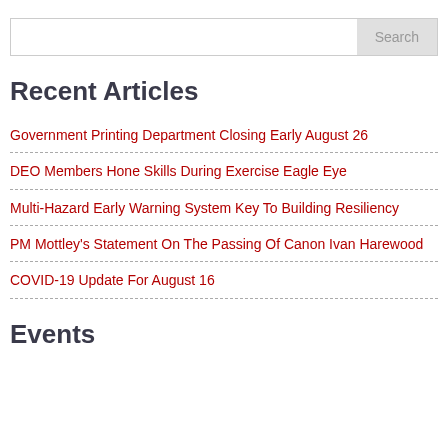Search
Recent Articles
Government Printing Department Closing Early August 26
DEO Members Hone Skills During Exercise Eagle Eye
Multi-Hazard Early Warning System Key To Building Resiliency
PM Mottley's Statement On The Passing Of Canon Ivan Harewood
COVID-19 Update For August 16
Events